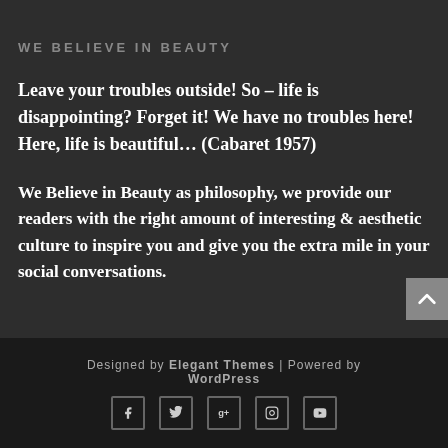WE BELIEVE IN BEAUTY
Leave your troubles outside! So – life is disappointing? Forget it! We have no troubles here! Here, life is beautiful… (Cabaret 1957)
We Believe in Beauty as philosophy, we provide our readers with the right amount of interesting & aesthetic culture to inspire you and give you the extra mile in your social conversations.
Designed by Elegant Themes | Powered by WordPress